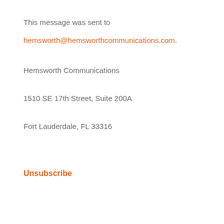This message was sent to
hemsworth@hemsworthcommunications.com.
Hemsworth Communications
1510 SE 17th Street, Suite 200A
Fort Lauderdale, FL 33316
Unsubscribe